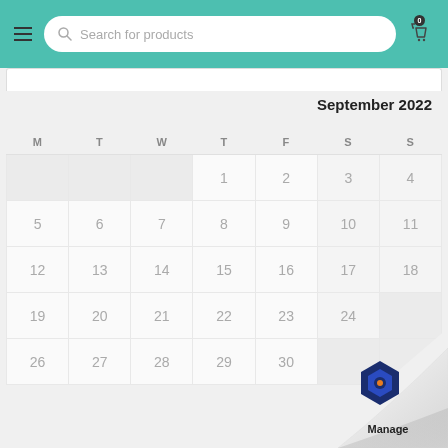[Figure (screenshot): E-commerce store header with teal/green background, hamburger menu icon, search bar with placeholder 'Search for products', and a shopping cart icon with badge showing 0]
September 2022
| M | T | W | T | F | S | S |
| --- | --- | --- | --- | --- | --- | --- |
|  |  |  | 1 | 2 | 3 | 4 |
| 5 | 6 | 7 | 8 | 9 | 10 | 11 |
| 12 | 13 | 14 | 15 | 16 | 17 | 18 |
| 19 | 20 | 21 | 22 | 23 | 24 |  |
| 26 | 27 | 28 | 29 | 30 |  |  |
[Figure (logo): Manage logo with blue hexagon icon and 'Manage' text below, displayed with page curl effect in bottom right corner]